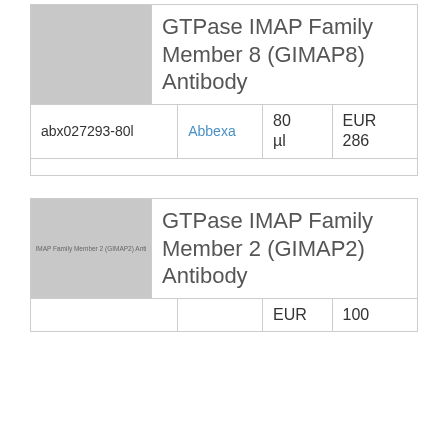[Figure (photo): Product image placeholder for GTPase IMAP Family Member 8 antibody]
GTPase IMAP Family Member 8 (GIMAP8) Antibody
| abx027293-80l | Abbexa | 80 µl | EUR 286 |
[Figure (photo): Product image placeholder for GTPase IMAP Family Member 2 antibody, with text: IMAP Family Member 2 (GIMAP2) Anti]
GTPase IMAP Family Member 2 (GIMAP2) Antibody
|  |  | EUR | 100 |